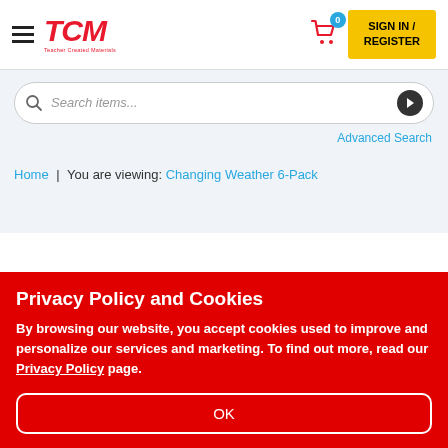TCM Teacher Created Materials — Navigation header with hamburger menu, cart (0 items), and SIGN IN / REGISTER button
Search items...
Advanced Search
Home | You are viewing: Changing Weather 6-Pack
Privacy Policy and Cookies
By browsing our website, you accept cookies used to improve and personalize our services and marketing. To find out more, read our Privacy Policy page.
OK